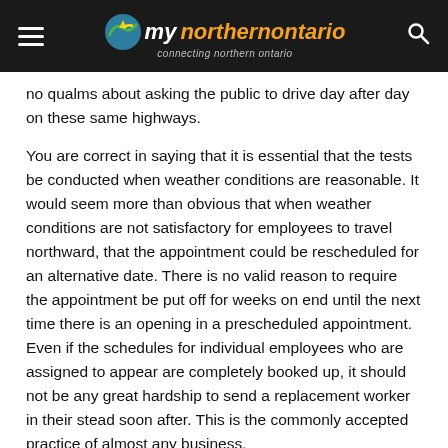my [northern ontario] — connecting northern ontario
no qualms about asking the public to drive day after day on these same highways.
You are correct in saying that it is essential that the tests be conducted when weather conditions are reasonable. It would seem more than obvious that when weather conditions are not satisfactory for employees to travel northward, that the appointment could be rescheduled for an alternative date. There is no valid reason to require the appointment be put off for weeks on end until the next time there is an opening in a prescheduled appointment. Even if the schedules for individual employees who are assigned to appear are completely booked up, it should not be any great hardship to send a replacement worker in their stead soon after. This is the commonly accepted practice of almost any business.